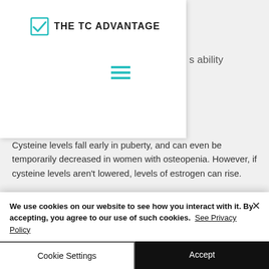THE TC ADVANTAGE
Cysteine levels fall early in puberty, and can even be temporarily decreased in women with osteopenia. However, if cysteine levels aren't lowered, levels of estrogen can rise.
It also has a powerful effect on protein synthesis, which gives weight loss and muscle gain the perfect balance.
We use cookies on our website to see how you interact with it. By accepting, you agree to our use of such cookies. See Privacy Policy